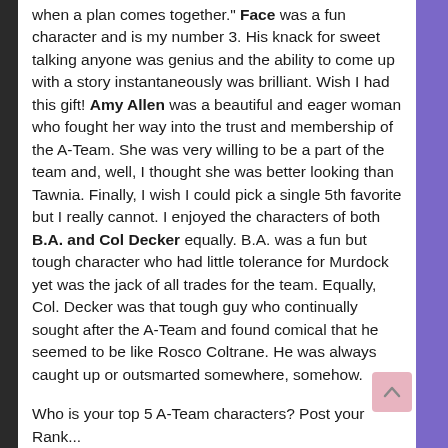when a plan comes together." Face was a fun character and is my number 3. His knack for sweet talking anyone was genius and the ability to come up with a story instantaneously was brilliant. Wish I had this gift! Amy Allen was a beautiful and eager woman who fought her way into the trust and membership of the A-Team. She was very willing to be a part of the team and, well, I thought she was better looking than Tawnia. Finally, I wish I could pick a single 5th favorite but I really cannot. I enjoyed the characters of both B.A. and Col Decker equally. B.A. was a fun but tough character who had little tolerance for Murdock yet was the jack of all trades for the team. Equally, Col. Decker was that tough guy who continually sought after the A-Team and found comical that he seemed to be like Rosco Coltrane. He was always caught up or outsmarted somewhere, somehow.
Who is your top 5 A-Team characters? Post your Rank...